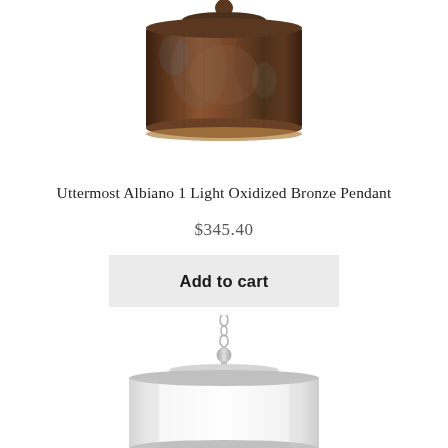[Figure (photo): Uttermost Albiano 1 Light Oxidized Bronze Pendant lamp, top portion showing dark bronze cylindrical drum shade with a small ball finial on top, photographed from below on white background.]
Uttermost Albiano 1 Light Oxidized Bronze Pendant
$345.40
Add to cart
[Figure (photo): Second pendant light fixture, partially visible — a chrome/silver chain and canopy with a white drum shade with silver trim ring, photographed from front on white background.]